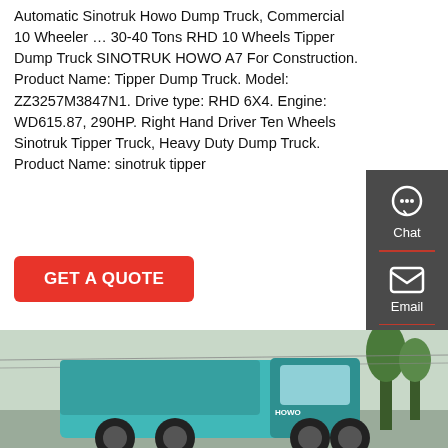Automatic Sinotruk Howo Dump Truck, Commercial 10 Wheeler … 30-40 Tons RHD 10 Wheels Tipper Dump Truck SINOTRUK HOWO A7 For Construction. Product Name: Tipper Dump Truck. Model: ZZ3257M3847N1. Drive type: RHD 6X4. Engine: WD615.87, 290HP. Right Hand Driver Ten Wheels Sinotruk Tipper Truck, Heavy Duty Dump Truck. Product Name: sinotruk tipper
[Figure (other): Red 'GET A QUOTE' button]
[Figure (other): Dark gray sidebar with Chat, Email, and Contact icons]
[Figure (photo): Photo of a teal/turquoise Sinotruk HOWO dump truck on a road with trees and power lines in background]